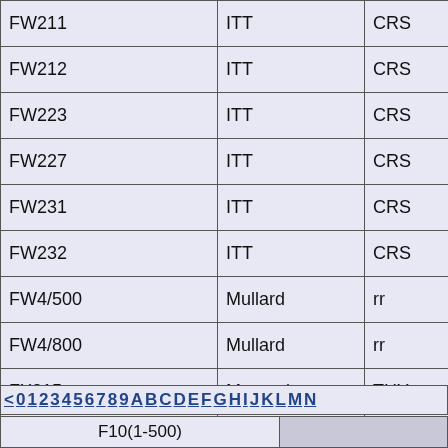| Model | Manufacturer | Type | Link |
| --- | --- | --- | --- |
| FW211 | ITT | CRS | F |
| FW212 | ITT | CRS | F |
| FW223 | ITT | CRS | F |
| FW227 | ITT | CRS | F |
| FW231 | ITT | CRS | F |
| FW232 | ITT | CRS | F |
| FW4/500 | Mullard | rr | F |
| FW4/800 | Mullard | rr | F |
| FX215 | Marconi | THY | F |
| FX219 | Marconi | THY | F |
| Fz21G | AEG | PHT° | F |
| Fz21V | AEG | PHT | F |
| Fz9011G | AEG | PHT° | F |
| Fz9011V | AEG | PHT | F |
| Fz9012G | AEG | PHT° | F |
< 0 1 2 3 4 5 6 7 8 9 A B C D E F G H I J K L M N
F10(1-500)